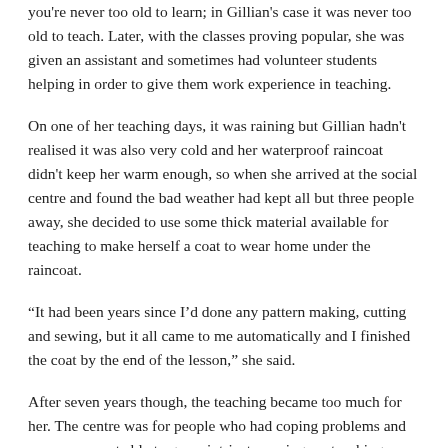you're never too old to learn; in Gillian's case it was never too old to teach. Later, with the classes proving popular, she was given an assistant and sometimes had volunteer students helping in order to give them work experience in teaching.
On one of her teaching days, it was raining but Gillian hadn't realised it was also very cold and her waterproof raincoat didn't keep her warm enough, so when she arrived at the social centre and found the bad weather had kept all but three people away, she decided to use some thick material available for teaching to make herself a coat to wear home under the raincoat.
“It had been years since I’d done any pattern making, cutting and sewing, but it all came to me automatically and I finished the coat by the end of the lesson,” she said.
After seven years though, the teaching became too much for her. The centre was for people who had coping problems and many were not able to grasp intricate sewing, so teaching was taxing.